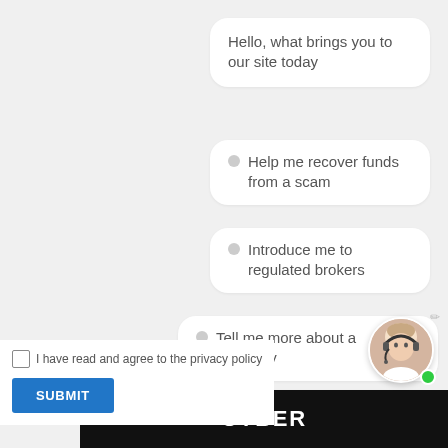Hello, what brings you to our site today
Help me recover funds from a scam
Introduce me to regulated brokers
Tell me more about a company
Teach me winning tactics and strategies
I have read and agree to the privacy policy
SUBMIT
[Figure (screenshot): Customer support avatar with headset and green online indicator]
CYBER